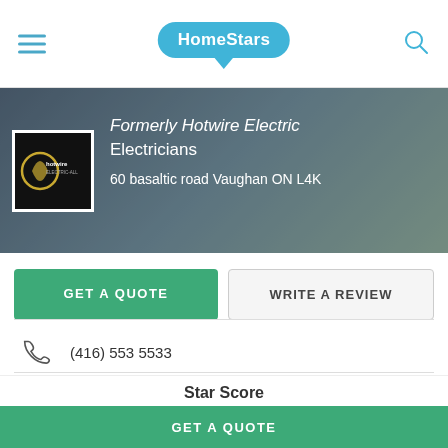HomeStars
[Figure (screenshot): Business hero banner showing Hotwire Power Group logo, formerly Hotwire Electric Electricians, 60 basaltic road Vaughan ON L4K]
Formerly Hotwire Electric Electricians
60 basaltic road Vaughan ON L4K
GET A QUOTE
WRITE A REVIEW
(416) 553 5533
Website
HomeStars > Electricians > Hotwire Power Group
Star Score
GET A QUOTE